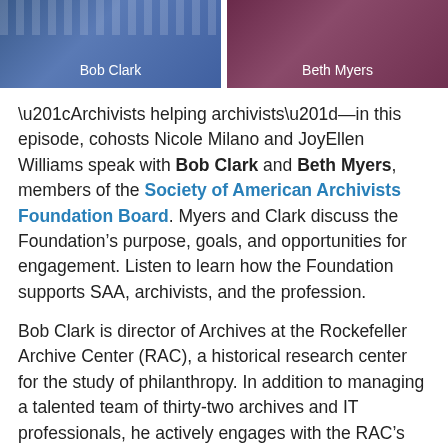[Figure (photo): Two photos side by side: Bob Clark on the left (man in blue checkered shirt) and Beth Myers on the right (woman in dark red/maroon top), each with their name as a caption overlay in white text.]
“Archivists helping archivists”—in this episode, cohosts Nicole Milano and JoyEllen Williams speak with Bob Clark and Beth Myers, members of the Society of American Archivists Foundation Board. Myers and Clark discuss the Foundation’s purpose, goals, and opportunities for engagement. Listen to learn how the Foundation supports SAA, archivists, and the profession.
Bob Clark is director of Archives at the Rockefeller Archive Center (RAC), a historical research center for the study of philanthropy. In addition to managing a talented team of thirty-two archives and IT professionals, he actively engages with the RAC’s records, creating organizations, such as the